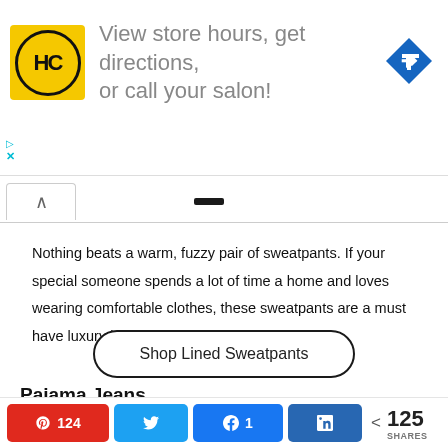[Figure (other): Advertisement banner: HC Salon logo (yellow circle with HC letters) with text 'View store hours, get directions, or call your salon!' and blue navigation arrow icon on the right.]
Nothing beats a warm, fuzzy pair of sweatpants. If your special someone spends a lot of time a home and loves wearing comfortable clothes, these sweatpants are a must have luxury item.
Shop Lined Sweatpants
Pajama Jeans
124  [Pinterest]  [Twitter]  [Facebook] 1  [LinkedIn]  < 125 SHARES